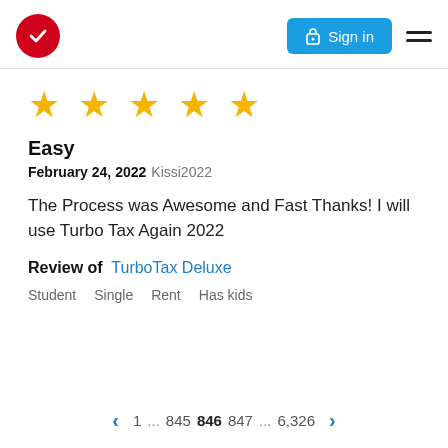Sign in
[Figure (other): Five gold star rating]
Easy
February 24, 2022 Kissi2022
The Process was Awesome and Fast Thanks! I will use Turbo Tax Again 2022
Review of TurboTax Deluxe
Student
Single
Rent
Has kids
1 ... 845 846 847 ... 6,326